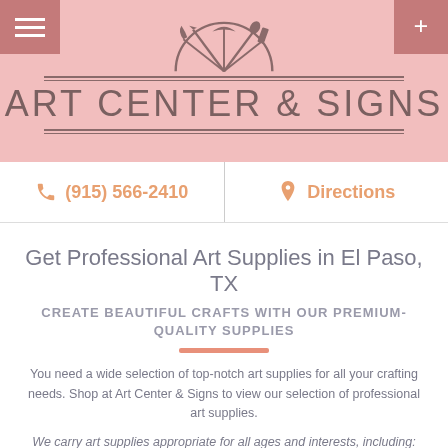[Figure (logo): Art Center & Signs logo with art tools (brushes, pens, markers) arranged in a fan shape inside a semicircle, above the brand name]
ART CENTER & SIGNS
(915) 566-2410
Directions
Get Professional Art Supplies in El Paso, TX
CREATE BEAUTIFUL CRAFTS WITH OUR PREMIUM-QUALITY SUPPLIES
You need a wide selection of top-notch art supplies for all your crafting needs. Shop at Art Center & Signs to view our selection of professional art supplies.
We carry art supplies appropriate for all ages and interests, including: